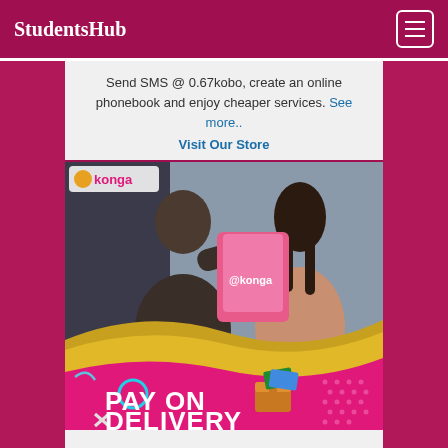StudentsHub
Send SMS @ 0.67kobo, create an online phonebook and enjoy cheaper services. See more.. Visit Our Store
[Figure (photo): Konga Pay on Delivery advertisement image showing a delivery person handing a pink bag to a woman, with 'PAY ON DELIVERY' text overlay on a magenta/pink background with gold wave decoration and the Konga logo.]